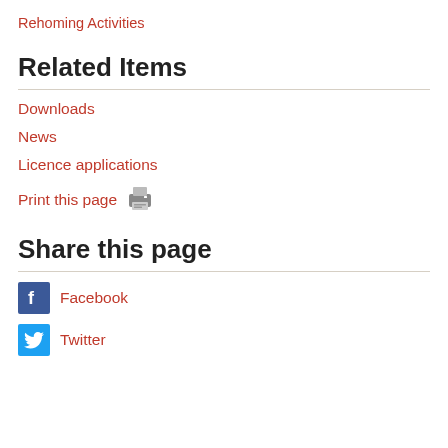Rehoming Activities
Related Items
Downloads
News
Licence applications
Print this page
Share this page
Facebook
Twitter